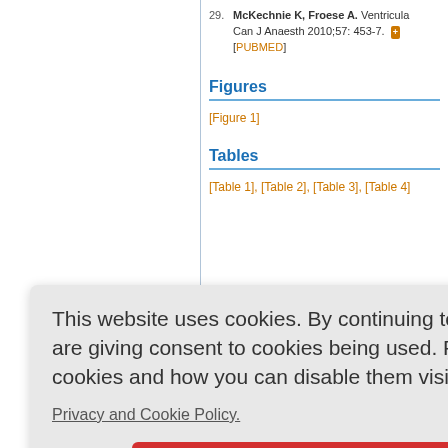29. McKechnie K, Froese A. Ventricula Can J Anaesth 2010;57: 453-7. [PUBMED]
Figures
[Figure 1]
Tables
[Table 1], [Table 2], [Table 3], [Table 4]
ed by
of Intrave Patients I oital, Tam o, Sufala S cology Jo
urado co llecistect er Abel Tor geles. 202
[Pubmed] | [DOI]
This website uses cookies. By continuing to use this website you are giving consent to cookies being used. For information on cookies and how you can disable them visit our Privacy and Cookie Policy. AGREE & PROCEED